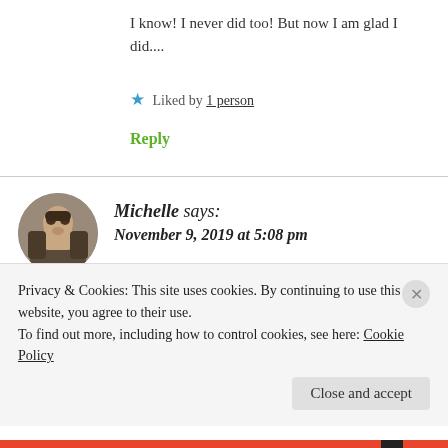I know! I never did too! But now I am glad I did....
★ Liked by 1 person
Reply
Michelle says: November 9, 2019 at 5:08 pm
Privacy & Cookies: This site uses cookies. By continuing to use this website, you agree to their use.
To find out more, including how to control cookies, see here: Cookie Policy
Close and accept